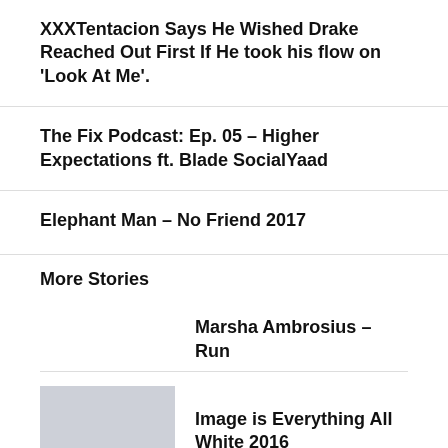XXXTentacion Says He Wished Drake Reached Out First If He took his flow on 'Look At Me'.
The Fix Podcast: Ep. 05 – Higher Expectations ft. Blade SocialYaad
Elephant Man – No Friend 2017
More Stories
Marsha Ambrosius – Run
Image is Everything All White 2016